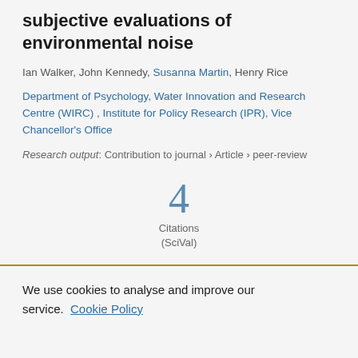subjective evaluations of environmental noise
Ian Walker, John Kennedy, Susanna Martin, Henry Rice
Department of Psychology, Water Innovation and Research Centre (WIRC) , Institute for Policy Research (IPR), Vice Chancellor's Office
Research output: Contribution to journal › Article › peer-review
4 Citations (SciVal)
We use cookies to analyse and improve our service. Cookie Policy